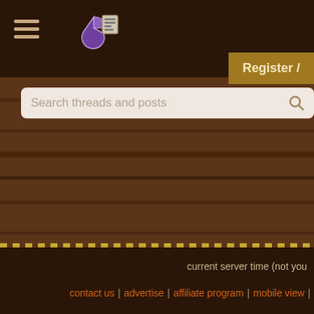[Figure (screenshot): Mobile forum website screenshot showing a permaculture/homesteading forum with dark wood-textured background, navigation icons (hamburger menu, pie chart icon, list icon), search bar reading 'Search threads and posts', a golden 'Register /' button, and a list of forum thread titles: 'Green roof becomes p...' with 38 replies, 'doing a major salvage...' with 10 replies and a thumbnail image, 'Wattle fence' with 3 replies, and 'interface between bale...' with 4 replies. Bottom footer shows 'current server time (not you...' and links: 'contact us | advertise | affiliate program | mobile view |']